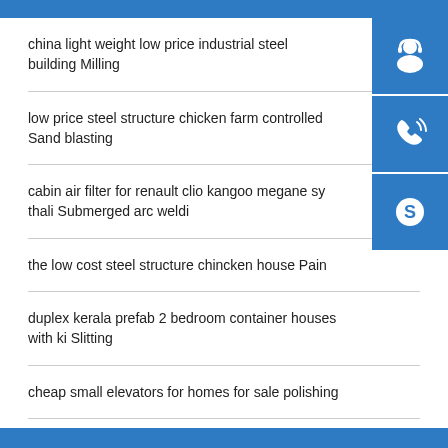china light weight low price industrial steel building Milling
low price steel structure chicken farm controlled Sand blasting
cabin air filter for renault clio kangoo megane sy thali Submerged arc weldi
the low cost steel structure chincken house Pain
duplex kerala prefab 2 bedroom container houses with ki Slitting
cheap small elevators for homes for sale polishing